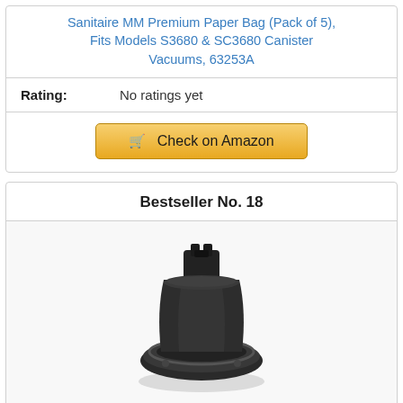Sanitaire MM Premium Paper Bag (Pack of 5), Fits Models S3680 & SC3680 Canister Vacuums, 63253A
Rating: No ratings yet
Check on Amazon
Bestseller No. 18
[Figure (photo): Product photo of a black vacuum canister base/cup component, circular base with a mounting bracket on top, viewed from front angle.]
MTB Replacement Part 47lb Canister Blac...